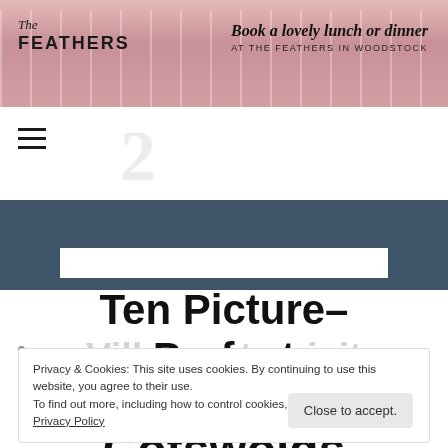[Figure (photo): Banner photo of The Feathers hotel restaurant table setting with wine glasses and pink accents. Logo on left reads 'The FEATHERS'. Right side text reads 'Book a lovely lunch or dinner AT THE FEATHERS IN WOODSTOCK'.]
Book a lovely lunch or dinner AT THE FEATHERS IN WOODSTOCK
[Figure (other): Hamburger menu icon (three horizontal lines)]
Ten Picture-Perfect Villages to visit in the Cotswolds
Privacy & Cookies: This site uses cookies. By continuing to use this website, you agree to their use.
To find out more, including how to control cookies, see here: Cookies and Privacy Policy
Close to accept.